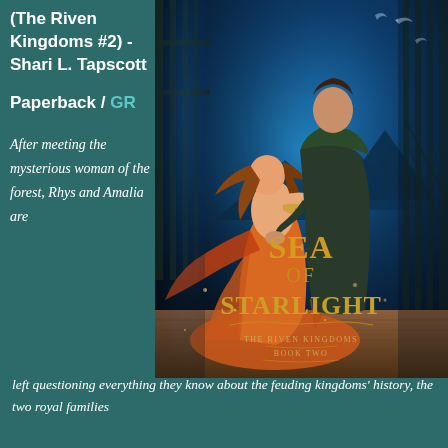(The Riven Kingdoms #2) - Shari L. Tapscott
Paperback / GR
[Figure (illustration): Book cover for 'Sea of Starlight' (The Riven Kingdoms Book Two) by Shari L. Tapscott. Shows a woman in an orange flowing dress and a man in dark clothing embracing, with a dramatic blue-lit fantasy landscape in the background. The book title 'SEA OF STARLIGHT' is displayed in large ornate gold lettering.]
After meeting the mysterious woman of the forest, Rhys and Amalia are left questioning everything they know about the feuding kingdoms' history, the two royal families